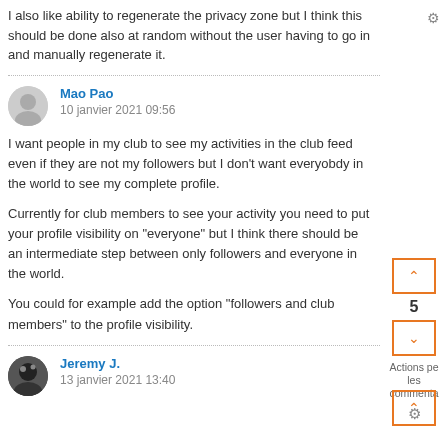I also like ability to regenerate the privacy zone but I think this should be done also at random without the user having to go in and manually regenerate it.
Mao Pao
10 janvier 2021 09:56

I want people in my club to see my activities in the club feed even if they are not my followers but I don't want everyobdy in the world to see my complete profile.

Currently for club members to see your activity you need to put your profile visibility on "everyone" but I think there should be an intermediate step between only followers and everyone in the world.

You could for example add the option "followers and club members" to the profile visibility.
Jeremy J.
13 janvier 2021 13:40